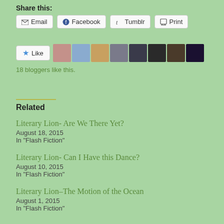Share this:
Email  Facebook  Tumblr  Print
[Figure (other): Like button and blogger avatars row with 18 blogger avatars shown]
18 bloggers like this.
Related
Literary Lion- Are We There Yet?
August 18, 2015
In "Flash Fiction"
Literary Lion- Can I Have this Dance?
August 10, 2015
In "Flash Fiction"
Literary Lion–The Motion of the Ocean
August 1, 2015
In "Flash Fiction"